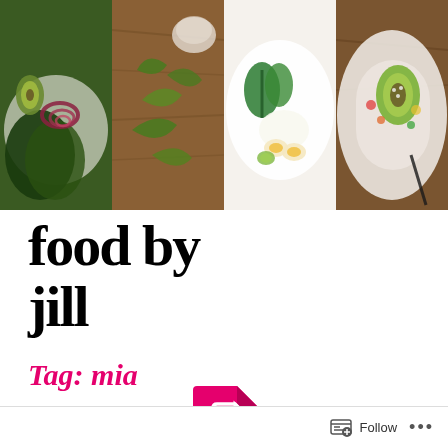[Figure (photo): Four food photos side by side: green vegetables and red onion on white plate, green herb crackers on wooden surface, bowl with eggs and greens on white background, avocado salad bowl on wooden surface]
food by jill
Tag: mia
[Figure (illustration): Pink/magenta document icon with page corner folded]
Follow ...